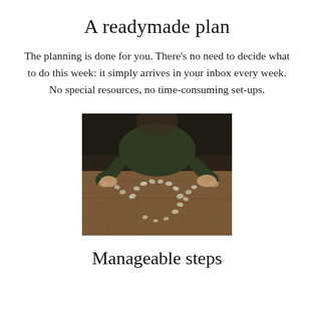A readymade plan
The planning is done for you. There’s no need to decide what to do this week: it simply arrives in your inbox every week. No special resources, no time-consuming set-ups.
[Figure (photo): Child at a wooden table arranging small stones or seeds into a circular pattern with both hands]
Manageable steps